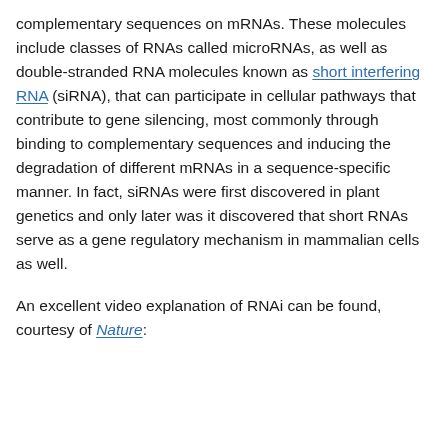complementary sequences on mRNAs. These molecules include classes of RNAs called microRNAs, as well as double-stranded RNA molecules known as short interfering RNA (siRNA), that can participate in cellular pathways that contribute to gene silencing, most commonly through binding to complementary sequences and inducing the degradation of different mRNAs in a sequence-specific manner. In fact, siRNAs were first discovered in plant genetics and only later was it discovered that short RNAs serve as a gene regulatory mechanism in mammalian cells as well.
An excellent video explanation of RNAi can be found, courtesy of Nature: